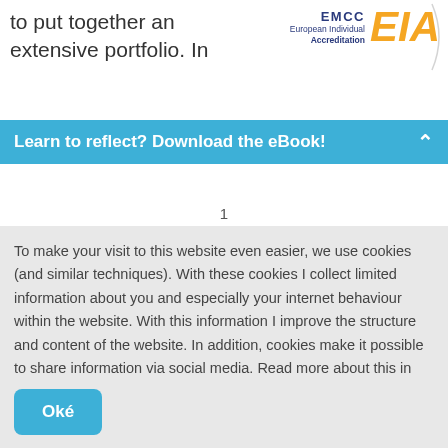to put together an extensive portfolio. In
[Figure (logo): EMCC EIA (European Individual Accreditation) logo with orange bold EIA text and dark blue EMCC text]
Learn to reflect? Download the eBook!
1
To make your visit to this website even easier, we use cookies (and similar techniques). With these cookies I collect limited information about you and especially your internet behaviour within the website. With this information I improve the structure and content of the website. In addition, cookies make it possible to share information via social media. Read more about this in the Privacy and Cookie Statement.
Oké